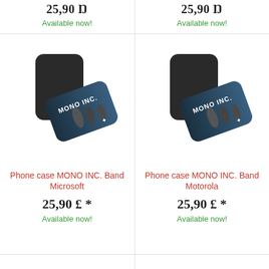25,90 £
Available now!
25,90 £
Available now!
[Figure (photo): Phone case product image for MONO INC. Band Microsoft — shows a black phone with a decorative card case featuring MONO INC. band artwork]
Phone case MONO INC. Band Microsoft
25,90 £ *
Available now!
[Figure (photo): Phone case product image for MONO INC. Band Motorola — shows a black phone with a decorative card case featuring MONO INC. band artwork]
Phone case MONO INC. Band Motorola
25,90 £ *
Available now!